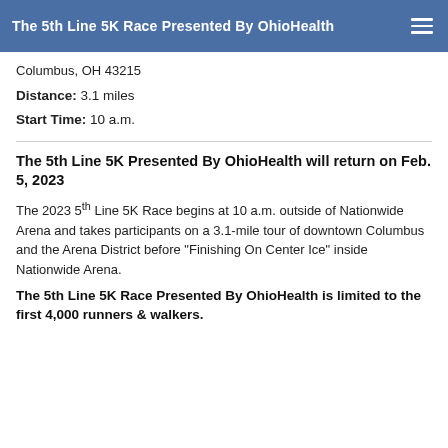The 5th Line 5K Race Presented By OhioHealth
Columbus, OH 43215
Distance: 3.1 miles
Start Time: 10 a.m.
The 5th Line 5K Presented By OhioHealth will return on Feb. 5, 2023
The 2023 5th Line 5K Race begins at 10 a.m. outside of Nationwide Arena and takes participants on a 3.1-mile tour of downtown Columbus and the Arena District before "Finishing On Center Ice" inside Nationwide Arena.
The 5th Line 5K Race Presented By OhioHealth is limited to the first 4,000 runners & walkers.